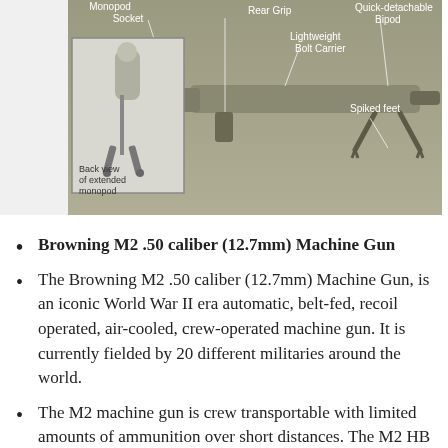[Figure (engineering-diagram): Labeled diagram of a machine gun showing parts: Monopod Socket, Rear Grip, Lightweight Bolt Carrier, Quick-detachable Bipod, Spiked feet. Also shows a back view of extended monopod (inset photo).]
Browning M2 .50 caliber (12.7mm) Machine Gun
The Browning M2 .50 caliber (12.7mm) Machine Gun, is an iconic World War II era automatic, belt-fed, recoil operated, air-cooled, crew-operated machine gun. It is currently fielded by 20 different militaries around the world.
The M2 machine gun is crew transportable with limited amounts of ammunition over short distances. The M2 HB machine gun is